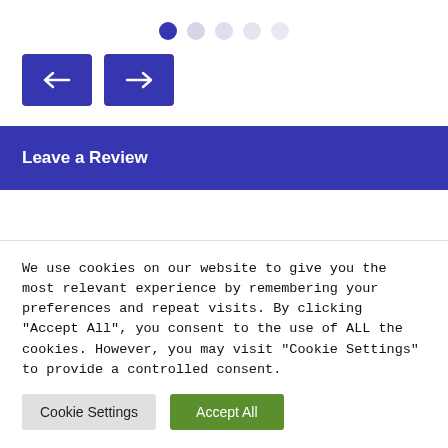[Figure (other): Pagination dots: one active dark blue dot followed by four lighter inactive dots]
[Figure (other): Two navigation arrow buttons (left arrow and right arrow) with dark blue background]
Leave a Review
We use cookies on our website to give you the most relevant experience by remembering your preferences and repeat visits. By clicking "Accept All", you consent to the use of ALL the cookies. However, you may visit "Cookie Settings" to provide a controlled consent.
[Figure (other): Cookie Settings button (grey) and Accept All button (green)]